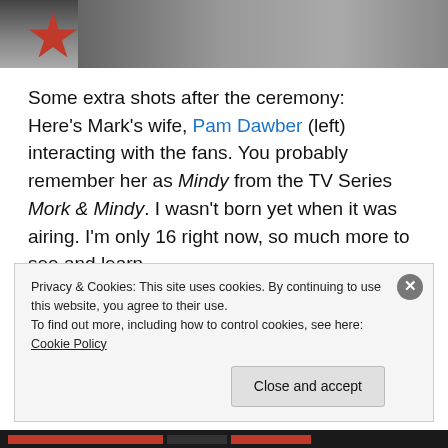[Figure (photo): Photo strip at top showing a Hollywood Walk of Fame star (pink/red) and people's feet/legs on a sidewalk]
Some extra shots after the ceremony: Here's Mark's wife, Pam Dawber (left) interacting with the fans. You probably remember her as Mindy from the TV Series Mork & Mindy. I wasn't born yet when it was airing. I'm only 16 right now, so much more to see and learn.
Privacy & Cookies: This site uses cookies. By continuing to use this website, you agree to their use.
To find out more, including how to control cookies, see here: Cookie Policy
Close and accept